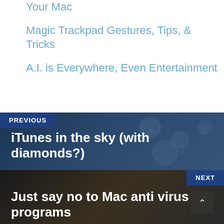Your Mac
Magic Trackpad Gestures, Tips, & Tricks
A.I. is Everywhere, Even Entertainment
PREVIOUS
iTunes in the sky (with diamonds?)
NEXT
Just say no to Mac anti virus programs